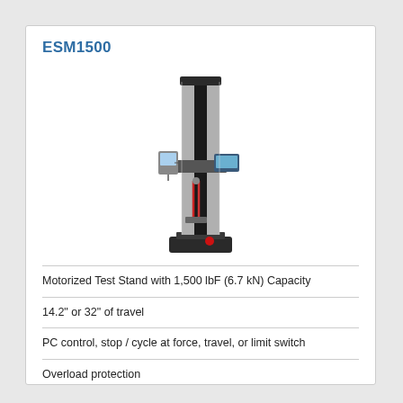ESM1500
[Figure (photo): ESM1500 Motorized Test Stand — tall vertical column with black rail and silver housing, crosshead with force gauge and digital display attached, red specimen under tension, heavy base with red emergency stop button]
Motorized Test Stand with 1,500 lbF (6.7 kN) Capacity
14.2" or 32" of travel
PC control, stop / cycle at force, travel, or limit switch
Overload protection